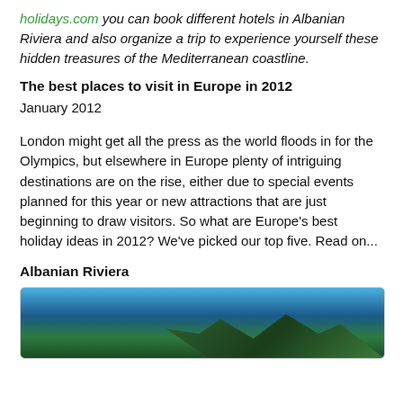holidays.com you can book different hotels in Albanian Riviera and also organize a trip to experience yourself these hidden treasures of the Mediterranean coastline.
The best places to visit in Europe in 2012
January 2012
London might get all the press as the world floods in for the Olympics, but elsewhere in Europe plenty of intriguing destinations are on the rise, either due to special events planned for this year or new attractions that are just beginning to draw visitors. So what are Europe's best holiday ideas in 2012? We've picked our top five. Read on...
Albanian Riviera
[Figure (photo): Photograph of Albanian Riviera coastline with rocky cliffs and trees against a blue sky]